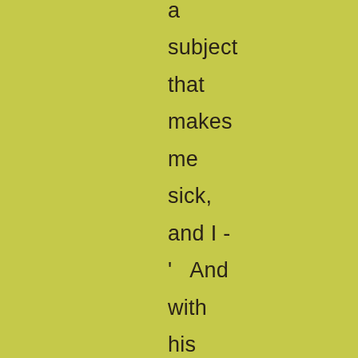a subject that makes me sick, and I - '  And with his favourite right-arm flourish which sweeps away everything and